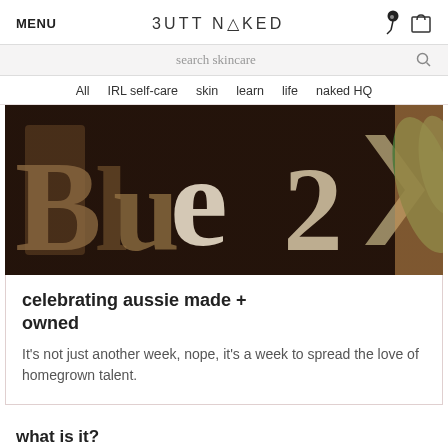MENU   BUTT NAKED   [icons]
search skincare
All   IRL self-care   skin   learn   life   naked HQ
[Figure (photo): Close-up photo of wooden or metal letters spelling 'Blue 2' with dark brown background and green element on right]
celebrating aussie made + owned
It's not just another week, nope, it's a week to spread the love of homegrown talent.
what is it?